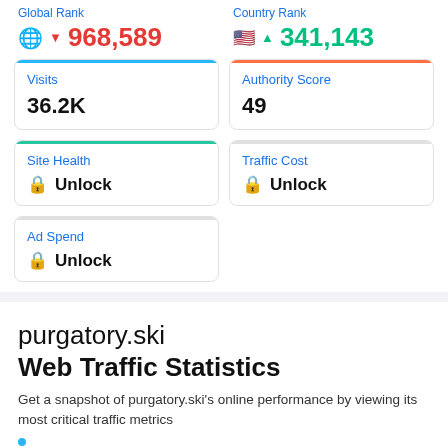Global Rank | Country Rank
968,589 (down) | 341,143 (up)
Visits: 36.2K
Authority Score: 49
Site Health: Unlock
Traffic Cost: Unlock
Ad Spend: Unlock
purgatory.ski Web Traffic Statistics
Get a snapshot of purgatory.ski's online performance by viewing its most critical traffic metrics